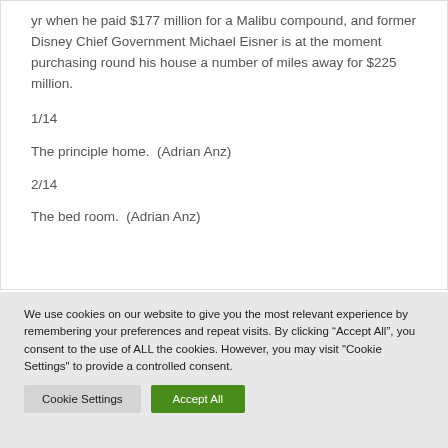yr when he paid $177 million for a Malibu compound, and former Disney Chief Government Michael Eisner is at the moment purchasing round his house a number of miles away for $225 million.
1/14
The principle home.  (Adrian Anz)
2/14
The bed room.  (Adrian Anz)
We use cookies on our website to give you the most relevant experience by remembering your preferences and repeat visits. By clicking “Accept All”, you consent to the use of ALL the cookies. However, you may visit "Cookie Settings" to provide a controlled consent.